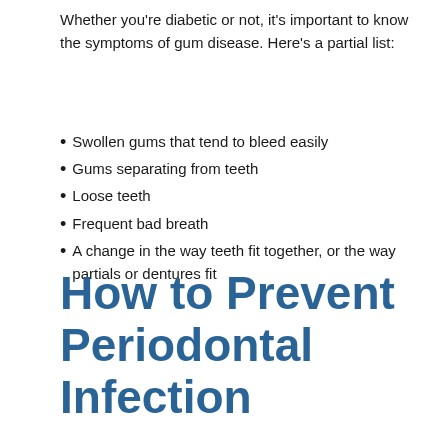Whether you're diabetic or not, it's important to know the symptoms of gum disease. Here's a partial list:
Swollen gums that tend to bleed easily
Gums separating from teeth
Loose teeth
Frequent bad breath
A change in the way teeth fit together, or the way partials or dentures fit
How to Prevent Periodontal Infection